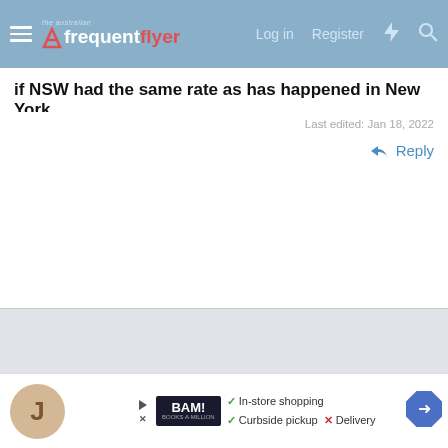the australian frequent flyer - Log in  Register
if NSW had the same rate as has happened in New York.
Last edited: Jan 18, 2022
Reply
[Figure (screenshot): Gray empty content area below post]
[Figure (screenshot): Advertisement banner: BAM! Books-A-Million. In-store shopping (check), Curbside pickup (check), Delivery (X). Navigation arrow icon. Play button and close icons.]